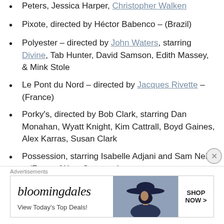Peters, Jessica Harper, Christopher Walken
Pixote, directed by Héctor Babenco – (Brazil)
Polyester – directed by John Waters, starring Divine, Tab Hunter, David Samson, Edith Massey, & Mink Stole
Le Pont du Nord – directed by Jacques Rivette – (France)
Porky's, directed by Bob Clark, starring Dan Monahan, Wyatt Knight, Kim Cattrall, Boyd Gaines, Alex Karras, Susan Clark
Possession, starring Isabelle Adjani and Sam Neill – (France/West Germany)
The Postman Always Rings Twice – directed by
Advertisements
[Figure (other): Bloomingdale's advertisement banner with logo, tagline 'View Today's Top Deals!', image of woman in wide-brim hat, and 'SHOP NOW >' button]